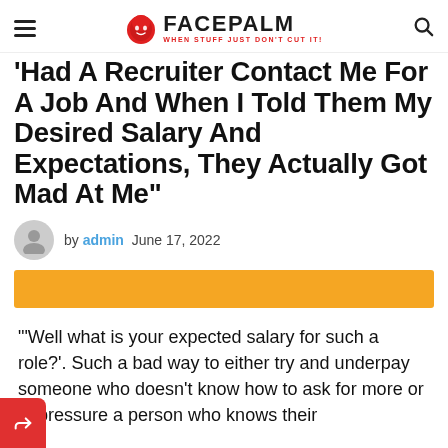FACEPALM — WHEN STUFF JUST DON'T CUT IT!
'Had A Recruiter Contact Me For A Job And When I Told Them My Desired Salary And Expectations, They Actually Got Mad At Me"
by admin  June 17, 2022
[Figure (other): Orange decorative bar / image placeholder]
"'Well what is your expected salary for such a role?'. Such a bad way to either try and underpay someone who doesn't know how to ask for more or to pressure a person who knows their